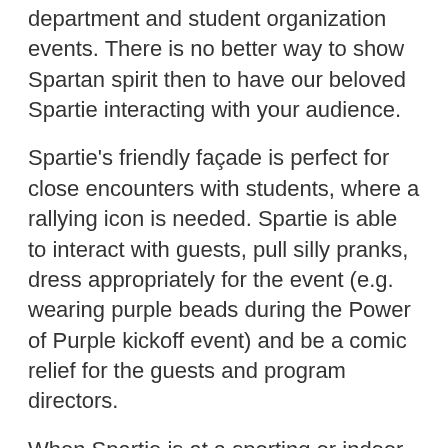department and student organization events. There is no better way to show Spartan spirit then to have our beloved Spartie interacting with your audience.
Spartie's friendly façade is perfect for close encounters with students, where a rallying icon is needed. Spartie is able to interact with guests, pull silly pranks, dress appropriately for the event (e.g. wearing purple beads during the Power of Purple kickoff event) and be a comic relief for the guests and program directors.
When Spartie is at a sporting or indoor event, a handler is needed because the mascot needs to take frequent breaks to avoid overheating and exhaustion.